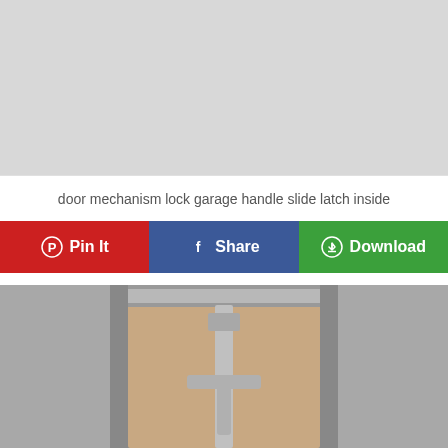[Figure (other): Gray placeholder/advertisement area at top of page]
door mechanism lock garage handle slide latch inside
Pin It  Share  Download
[Figure (photo): Photo of inside of a garage door showing metal slide latch mechanism with vertical rod and crossbar handle in T-shape]